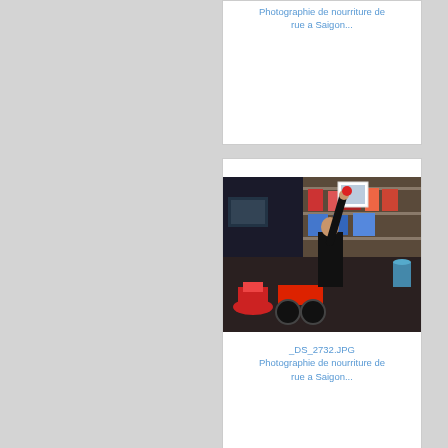Photographie de nourriture de rue a Saigon...
[Figure (photo): Color photo of a person reaching up in a small cluttered shop with motorcycles and merchandise visible]
_DS_2732.JPG
Photographie de nourriture de rue a Saigon...
[Figure (photo): Black and white photo of an older Asian man sitting at a table, smiling at the camera, with a drink and condiments on the table]